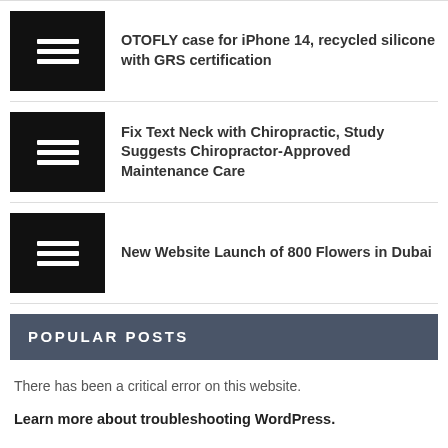OTOFLY case for iPhone 14, recycled silicone with GRS certification
Fix Text Neck with Chiropractic, Study Suggests Chiropractor-Approved Maintenance Care
New Website Launch of 800 Flowers in Dubai
POPULAR POSTS
There has been a critical error on this website.
Learn more about troubleshooting WordPress.